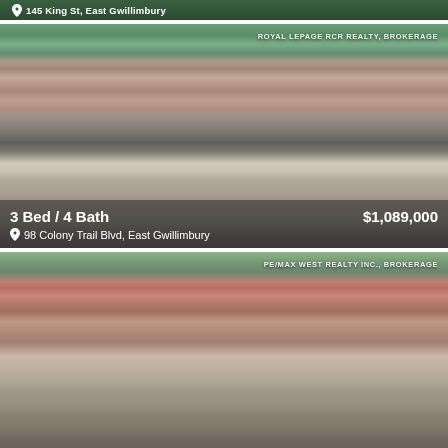[Figure (photo): Partial top card showing address: 145 King St, East Gwillimbury]
[Figure (photo): Aerial/exterior photo of a 2-storey brick house with double garage at 98 Colony Trail Blvd, East Gwillimbury. Brokerage: Royal LePage RCR Realty, Brokerage. Listed at $1,089,000. 3 Bed / 4 Bath.]
[Figure (photo): Exterior front photo of a red brick 2-storey house at PE/MAX West Realty Inc., Brokerage (listing partial, address cut off at bottom of page).]